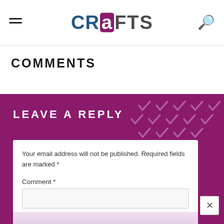CRAFTS
COMMENTS
LEAVE A REPLY
Your email address will not be published. Required fields are marked *
Comment *